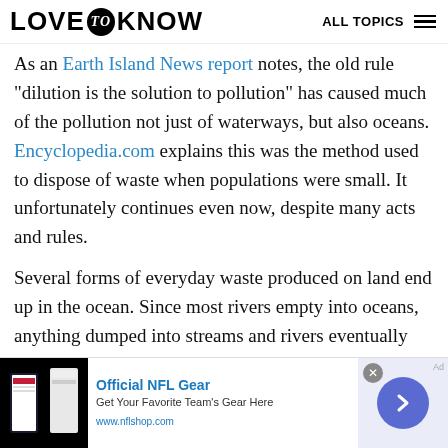LOVE to KNOW  ALL TOPICS
As an Earth Island News report notes, the old rule "dilution is the solution to pollution" has caused much of the pollution not just of waterways, but also oceans. Encyclopedia.com explains this was the method used to dispose of waste when populations were small. It unfortunately continues even now, despite many acts and rules.
Several forms of everyday waste produced on land end up in the ocean. Since most rivers empty into oceans, anything dumped into streams and rivers eventually reach oceans, points out World Wide...
[Figure (other): Advertisement banner for Official NFL Gear at www.nflshop.com with football jersey image and arrow button]